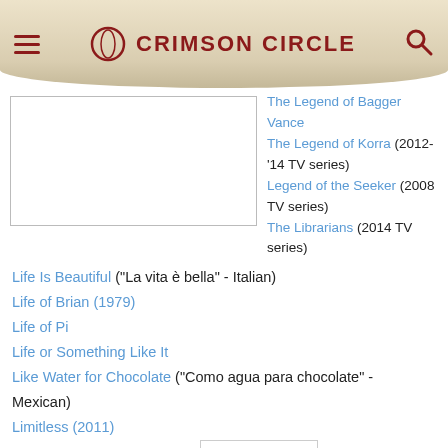CRIMSON CIRCLE
The Legend of Bagger Vance
The Legend of Korra (2012-'14 TV series)
Legend of the Seeker (2008 TV series)
The Librarians (2014 TV series)
Life Is Beautiful ("La vita è bella" - Italian)
Life of Brian (1979)
Life of Pi
Life or Something Like It
Like Water for Chocolate ("Como agua para chocolate" - Mexican)
Limitless (2011)
Limitless (2015+ TV series)
Little Buddha (1993)